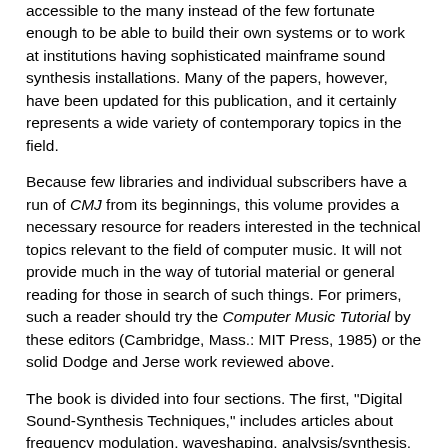accessible to the many instead of the few fortunate enough to be able to build their own systems or to work at institutions having sophisticated mainframe sound synthesis installations. Many of the papers, however, have been updated for this publication, and it certainly represents a wide variety of contemporary topics in the field.
Because few libraries and individual subscribers have a run of CMJ from its beginnings, this volume provides a necessary resource for readers interested in the technical topics relevant to the field of computer music. It will not provide much in the way of tutorial material or general reading for those in search of such things. For primers, such a reader should try the Computer Music Tutorial by these editors (Cambridge, Mass.: MIT Press, 1985) or the solid Dodge and Jerse work reviewed above.
The book is divided into four sections. The first, "Digital Sound-Synthesis Techniques," includes articles about frequency modulation, waveshaping, analysis/synthesis, granular synthesis, and Paul Berg's iconoclastic instruction-based synthesis. The second, "Synthesizer Hardware and Engineering," covers the SSSP instrument in Toronto (now, sadly, mothballed), the DMX-1000, and the early IRCAM instruments